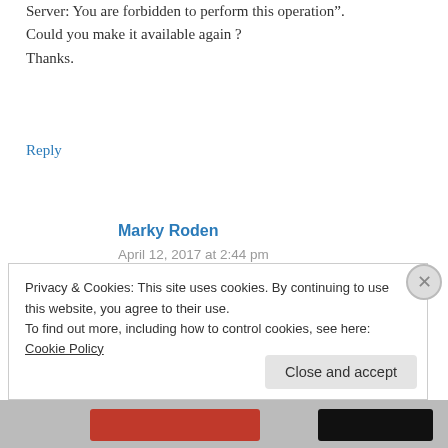Server: You are forbidden to perform this operation". Could you make it available again ? Thanks.
Reply
Marky Roden
April 12, 2017 at 2:44 pm
http://demo.xomino.com/xomino/xPlay.nsf/xTypeAhead.xsp#
Privacy & Cookies: This site uses cookies. By continuing to use this website, you agree to their use.
To find out more, including how to control cookies, see here: Cookie Policy